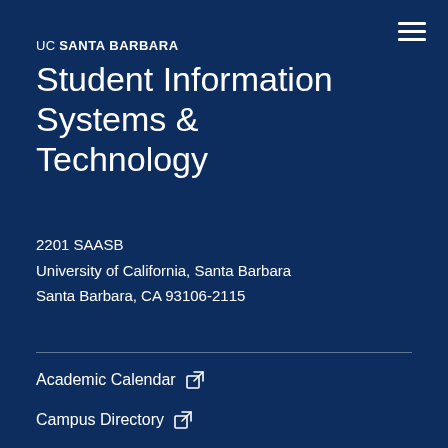UC SANTA BARBARA
Student Information Systems & Technology
2201 SAASB
University of California, Santa Barbara
Santa Barbara, CA 93106-2115
Academic Calendar ↗
Campus Directory ↗